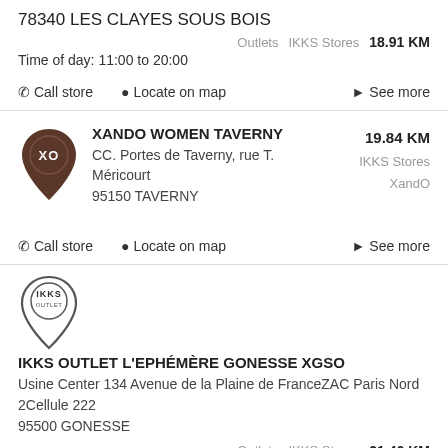78340 LES CLAYES SOUS BOIS
Outlets   IKKS Stores   18.91 KM
Time of day: 11:00 to 20:00
☎ Call store   📍 Locate on map   ▶ See more
XANDO WOMEN TAVERNY
CC. Portes de Taverny, rue T. Méricourt
95150 TAVERNY
19.84 KM
IKKS Stores
XandO
☎ Call store   📍 Locate on map   ▶ See more
IKKS OUTLET L'EPHÉMÈRE GONESSE XGSO
Usine Center 134 Avenue de la Plaine de FranceZAC Paris Nord 2Cellule 222
95500 GONESSE
Outlets   IKKS Stores   21.46 KM